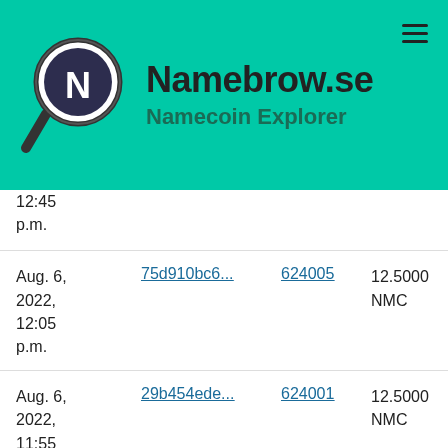Namebrow.se Namecoin Explorer
| Date | Transaction | Block | Amount |
| --- | --- | --- | --- |
| Aug. 6, 2022, 12:45 p.m. | 75d910bc6... | 624005 | 12.5000 NMC |
| Aug. 6, 2022, 12:05 p.m. | 75d910bc6... | 624005 | 12.5000 NMC |
| Aug. 6, 2022, 11:55 a.m. | 29b454ede... | 624001 | 12.5000 NMC |
| Aug. 6, 2022, 4:41 a.m. | a5eefd552... | 623966 | 12.5000 NMC |